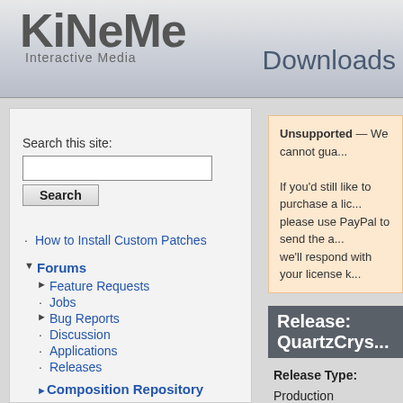KiNeMe Interactive Media — Downloads
Search this site:
How to Install Custom Patches
Forums
Feature Requests
Jobs
Bug Reports
Discussion
Applications
Releases
Composition Repository
Unsupported — We cannot gua...
If you'd still like to purchase a lic... please use PayPal to send the a... we'll respond with your license k...
Release: QuartzCrys...
Release Type: Production
Version: 2.1
Release Notes
Changes since QuartzC...